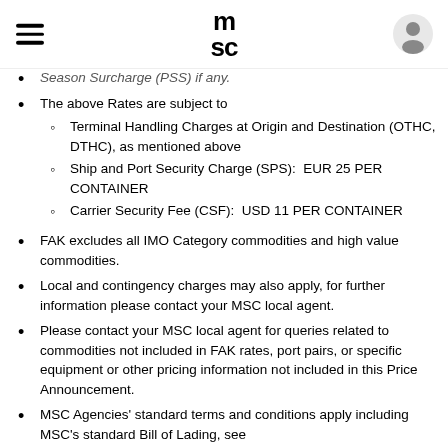MSC logo, hamburger menu, user icon
Season Surcharge (PSS) if any.
The above Rates are subject to
  - Terminal Handling Charges at Origin and Destination (OTHC, DTHC), as mentioned above
  - Ship and Port Security Charge (SPS): EUR 25 PER CONTAINER
  - Carrier Security Fee (CSF): USD 11 PER CONTAINER
FAK excludes all IMO Category commodities and high value commodities.
Local and contingency charges may also apply, for further information please contact your MSC local agent.
Please contact your MSC local agent for queries related to commodities not included in FAK rates, port pairs, or specific equipment or other pricing information not included in this Price Announcement.
MSC Agencies' standard terms and conditions apply including MSC's standard Bill of Lading, see https://www.msc.com/aus/contract-of-carriage. Unless otherwise specified in MSC agencies' standard terms and conditions MSC shall allow 8 days' free time to collect...